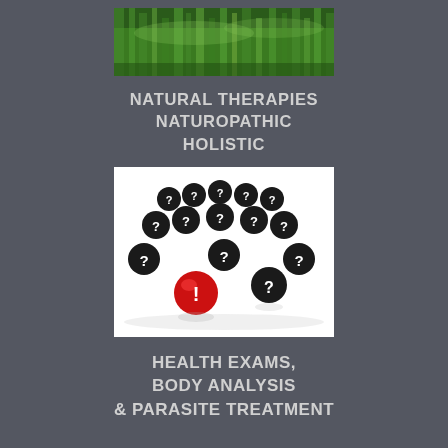[Figure (photo): Photo of green grass, top portion of page]
NATURAL THERAPIES
NATUROPATHIC
HOLISTIC
[Figure (illustration): 3D illustration of multiple black spheres with white question marks and one red sphere with white exclamation mark on a white reflective surface]
HEALTH EXAMS,
BODY ANALYSIS
& PARASITE TREATMENT